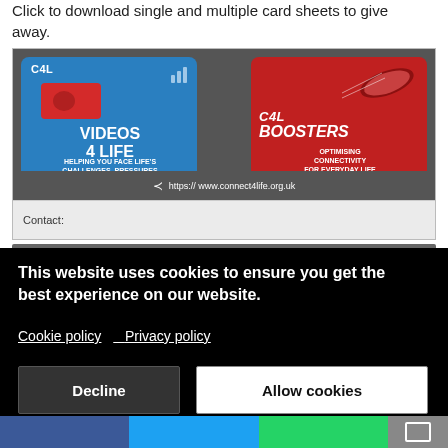Click to download single and multiple card sheets to give away.
[Figure (screenshot): Connect4Life promotional card showing two products: Videos 4 Life (blue panel, connect4life.org.uk/c4l-videos-4-life) and C4L Boosters (red panel, connect4life.org.uk/c4l-boosters), with share link https://www.connect4life.org.uk and a Contact: field at the bottom.]
This website uses cookies to ensure you get the best experience on our website. Cookie policy  Privacy policy
Decline
Allow cookies